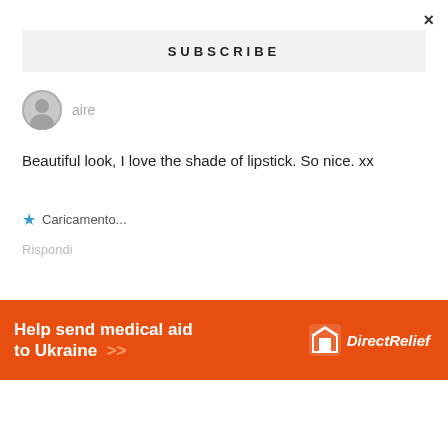×
SUBSCRIBE
aire
Beautiful look, I love the shade of lipstick. So nice. xx
★ Caricamento...
Rispondi
Blushy Darling dice
alle
[Figure (infographic): Orange advertisement banner for Direct Relief: 'Help send medical aid to Ukraine >>' with Direct Relief logo on the right]